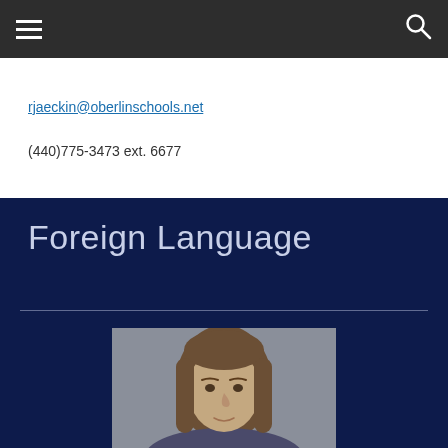Navigation header bar with menu and search icons
rjaeckin@oberlinschools.net
(440)775-3473 ext. 6677
Foreign Language
[Figure (photo): Headshot photo of a woman with long brown hair against a grey background]